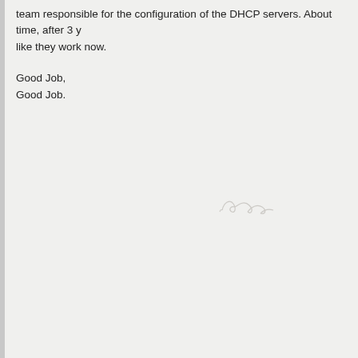team responsible for the configuration of the DHCP servers. About time, after 3 y… like they work now.
Good Job,
Good Job.
[Figure (illustration): A handwritten signature or initials, light gray/faint, cursive style]